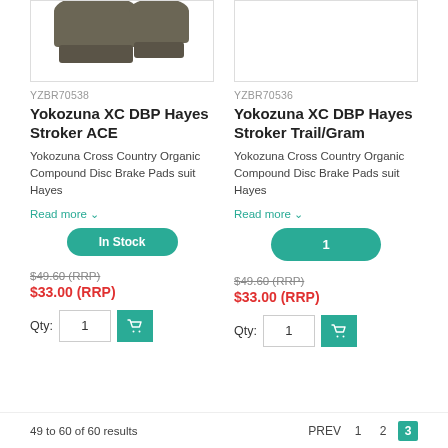[Figure (photo): Product image of Yokozuna XC DBP Hayes Stroker ACE brake pads (partially cropped, top portion visible)]
[Figure (photo): Product image of Yokozuna XC DBP Hayes Stroker Trail/Gram brake pads (blank/empty white area)]
YZBR70538
Yokozuna XC DBP Hayes Stroker ACE
Yokozuna Cross Country Organic Compound Disc Brake Pads suit Hayes
Read more
In Stock
$49.60 (RRP)
$33.00 (RRP)
Qty: 1
YZBR70536
Yokozuna XC DBP Hayes Stroker Trail/Gram
Yokozuna Cross Country Organic Compound Disc Brake Pads suit Hayes
Read more
1
$49.60 (RRP)
$33.00 (RRP)
Qty: 1
49 to 60 of 60 results   PREV 1 2 3